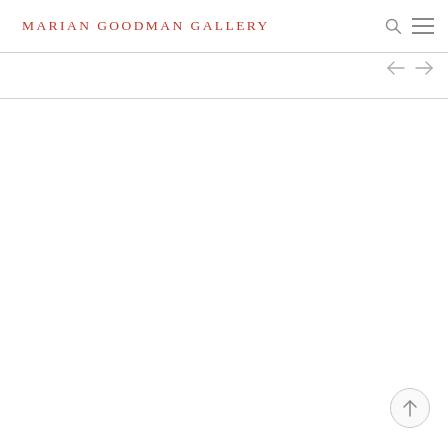MARIAN GOODMAN GALLERY
[Figure (screenshot): Marian Goodman Gallery website header with red uppercase logo text, search icon, and hamburger menu icon. Below the header are navigation arrows and a horizontal divider. The main content area is blank white. A scroll-to-top circular button appears at bottom right.]